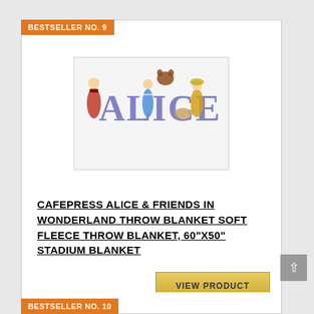BESTSELLER NO. 9
[Figure (illustration): Product image of a white throw blanket with 'ALICE' text and Alice in Wonderland characters printed on it]
CAFEPRESS ALICE & FRIENDS IN WONDERLAND THROW BLANKET SOFT FLEECE THROW BLANKET, 60"X50" STADIUM BLANKET
VIEW PRODUCT
BESTSELLER NO. 10